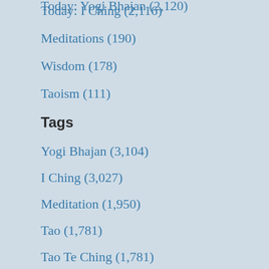Today: I Ching (2,116)
Meditations (190)
Wisdom (178)
Taoism (111)
Tags
Yogi Bhajan (3,104)
I Ching (3,027)
Meditation (1,950)
Tao (1,781)
Tao Te Ching (1,781)
Year
2022 (552)
2021 (704)